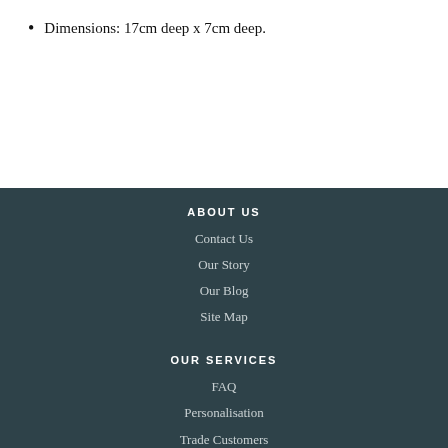Dimensions: 17cm deep x 7cm deep.
ABOUT US
Contact Us
Our Story
Our Blog
Site Map
OUR SERVICES
FAQ
Personalisation
Trade Customers